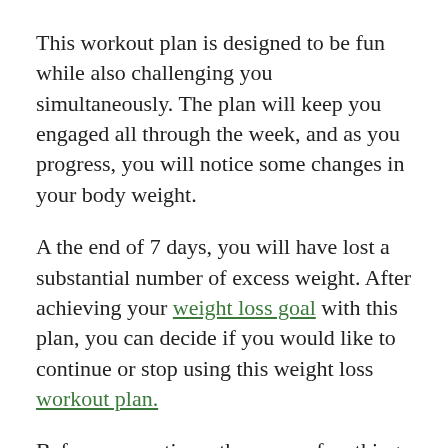This workout plan is designed to be fun while also challenging you simultaneously. The plan will keep you engaged all through the week, and as you progress, you will notice some changes in your body weight.
A the end of 7 days, you will have lost a substantial number of excess weight. After achieving your weight loss goal with this plan, you can decide if you would like to continue or stop using this weight loss workout plan.
Before we continue, there are a few things to point out. Although working out is necessary for...